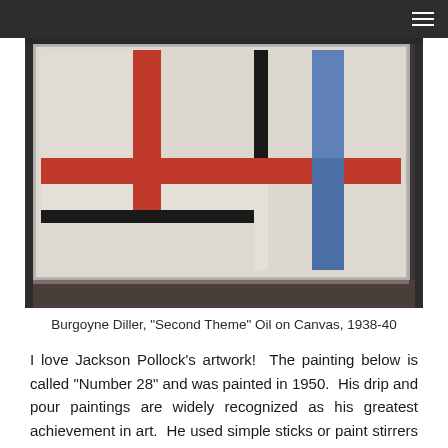≡
[Figure (photo): Photograph of Burgoyne Diller painting 'Second Theme', Oil on Canvas, 1938-40. A Mondrian-style abstract painting with geometric grid of red, blue, black, and white rectangles on white background, displayed in a silver frame against a dark grey wall.]
Burgoyne Diller, "Second Theme" Oil on Canvas, 1938-40
I love Jackson Pollock's artwork!  The painting below is called "Number 28" and was painted in 1950.  His drip and pour paintings are widely recognized as his greatest achievement in art.  He used simple sticks or paint stirrers and enamel house paint, sometimes poured right